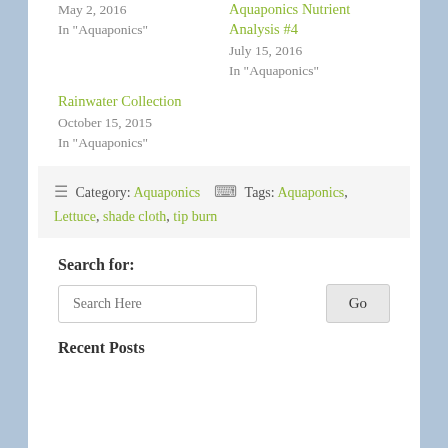May 2, 2016
In "Aquaponics"
Aquaponics Nutrient Analysis #4
July 15, 2016
In "Aquaponics"
Rainwater Collection
October 15, 2015
In "Aquaponics"
☰ Category: Aquaponics   🏷 Tags: Aquaponics, Lettuce, shade cloth, tip burn
← Drying Spirulina     Black Soldier Fly Larvae Project 2.0 →
Search for:
Search Here
Recent Posts